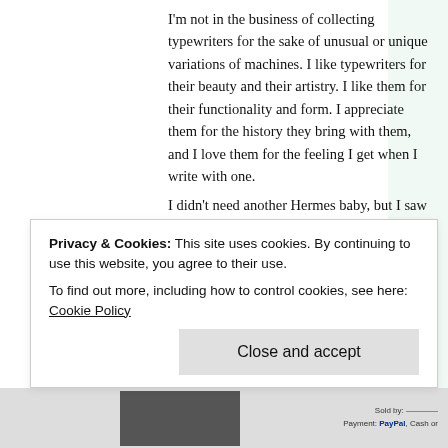I'm not in the business of collecting typewriters for the sake of unusual or unique variations of machines. I like typewriters for their beauty and their artistry. I like them for their functionality and form. I appreciate them for the history they bring with them, and I love them for the feeling I get when I write with one.
I didn't need another Hermes baby, but I saw this guy on eBay and I threw my hat in the ring simply because I noticed a couple of odd characters on the keyboard. Auction day came and no one else bid, and so it became mine for a wallet hurting $15. Not only was it cheap, but it was about a 5 minute drive from where I work to collect it.
[Figure (screenshot): eBay website screenshot showing the eBay logo and navigation bar with 'Browse by category' and 'Back to My eBay | Antiques > Other Antiques' breadcrumb.]
Privacy & Cookies: This site uses cookies. By continuing to use this website, you agree to their use.
To find out more, including how to control cookies, see here: Cookie Policy
Close and accept